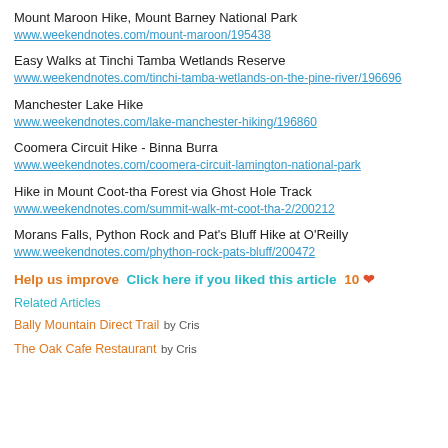Mount Maroon Hike, Mount Barney National Park
www.weekendnotes.com/mount-maroon/195438
Easy Walks at Tinchi Tamba Wetlands Reserve
www.weekendnotes.com/tinchi-tamba-wetlands-on-the-pine-river/196696
Manchester Lake Hike
www.weekendnotes.com/lake-manchester-hiking/196860
Coomera Circuit Hike - Binna Burra
www.weekendnotes.com/coomera-circuit-lamington-national-park
Hike in Mount Coot-tha Forest via Ghost Hole Track
www.weekendnotes.com/summit-walk-mt-coot-tha-2/200212
Morans Falls, Python Rock and Pat's Bluff Hike at O'Reilly
www.weekendnotes.com/phython-rock-pats-bluff/200472
Help us improve  Click here if you liked this article  10 ❤
Related Articles
Bally Mountain Direct Trail by Cris
The Oak Cafe Restaurant by Cris